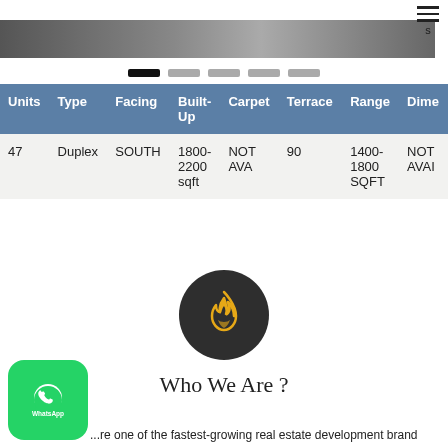[Figure (photo): Partial photo strip at the top of a real estate development]
| Units | Type | Facing | Built-Up | Carpet | Terrace | Range | Dime... |
| --- | --- | --- | --- | --- | --- | --- | --- |
| 47 | Duplex | SOUTH | 1800-2200 sqft | NOT AVA | 90 | 1400-1800 SQFT | NOT AVAI... |
[Figure (illustration): Dark circular icon with orange flame symbol]
[Figure (logo): WhatsApp green rounded square badge with WhatsApp icon and text]
Who We Are ?
...re one of the fastest-growing real estate development brand